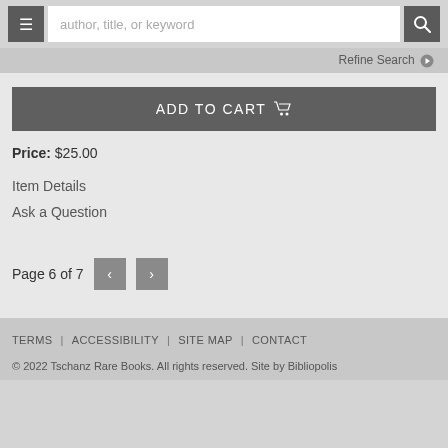author, title, or keyword
Refine Search
ADD TO CART
Price: $25.00
Item Details
Ask a Question
Page 6 of 7
TERMS | ACCESSIBILITY | SITE MAP | CONTACT
© 2022 Tschanz Rare Books. All rights reserved. Site by Bibliopolis